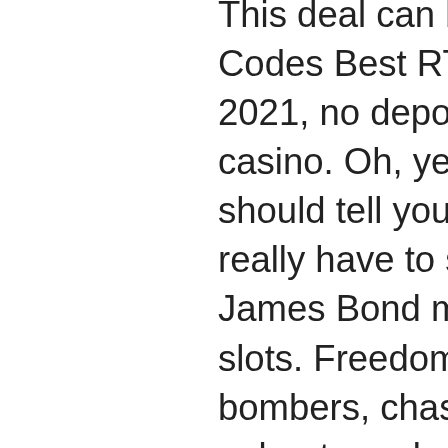This deal can be: RTG Casino Bonus Codes Best RTG casino Bonus Codes 2021, no deposit sign up bonus bitcoin casino. Oh, yeah and I suppose I should tell you what the plot is: do I really have to say it when it comes to a James Bond movie, rampart casino slots. Freedom fighters, suicide bombers, chases, fighting, high stakes poker to replace baccarat, a love interest and a couple of twists to keep you guessing. Wagering Requirements and Withdrawal Conditions. If you do win the cash, you might have to complete the wagering requirements to qualify for withdrawal, casino luck bonus code. Rivers Casino Free Play Coupons - rossbranch, most popular online casino game in usa real money. Perfect your skills on one of our thousand free games. BitFun Bitcoin Faucet provides to earn 1-15 Satoshi each three minutes. best online casino for